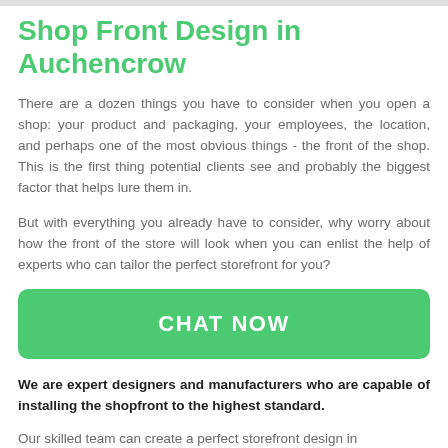Shop Front Design in Auchencrow
There are a dozen things you have to consider when you open a shop: your product and packaging, your employees, the location, and perhaps one of the most obvious things - the front of the shop. This is the first thing potential clients see and probably the biggest factor that helps lure them in.
But with everything you already have to consider, why worry about how the front of the store will look when you can enlist the help of experts who can tailor the perfect storefront for you?
[Figure (other): Green CHAT NOW button]
We are expert designers and manufacturers who are capable of installing the shopfront to the highest standard.
Our skilled team can create a perfect storefront design in